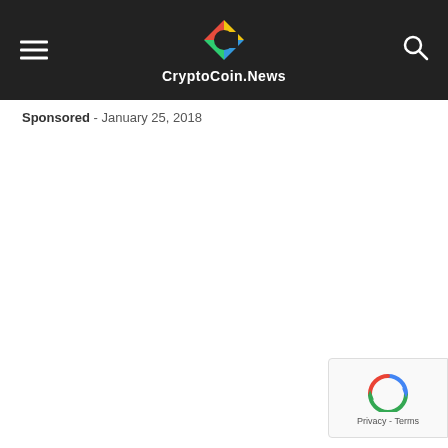CryptoCoin.News
Sponsored  -  January 25, 2018